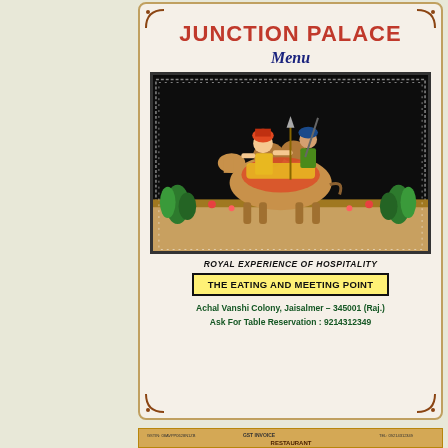[Figure (photo): Junction Palace restaurant menu cover featuring Rajasthani folk art illustration of warriors on a camel/horse, with decorative border]
JUNCTION PALACE
Menu
[Figure (illustration): Rajasthani folk painting showing colorful warriors/royalty on horseback and camel with decorative floral background]
ROYAL EXPERIENCE OF HOSPITALITY
THE EATING AND MEETING POINT
Achal Vanshi Colony, Jaisalmer – 345001 (Raj.)
Ask For Table Reservation : 9214312349
[Figure (photo): GST Invoice header for Restaurant Junction Palace showing GSTIN, TEL number, and partial restaurant name]
GSTIN: 08AVPP0628N1ZB   GST INVOICE   TEL: 09214312349
RESTAURANT
JUNCTION PALACE